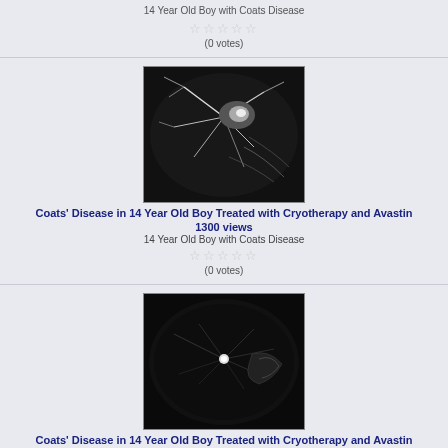14 Year Old Boy with Coats Disease
(0 votes)
[Figure (photo): Fluorescein angiography image of eye with Coats Disease - bright vessel branching on dark circular background]
Coats' Disease in 14 Year Old Boy Treated with Cryotherapy and Avastin
1300 views
14 Year Old Boy with Coats Disease
(0 votes)
[Figure (photo): Wide-angle fundus/angiography image of eye with Coats Disease - shows retinal vessels on dark background with bright central spot]
Coats' Disease in 14 Year Old Boy Treated with Cryotherapy and Avastin
396 views
14 Year Old Boy with Coats Disease
(0 votes)
[Figure (photo): Close-up photograph of a child's head/eye area in grayscale - partially visible at bottom of page]